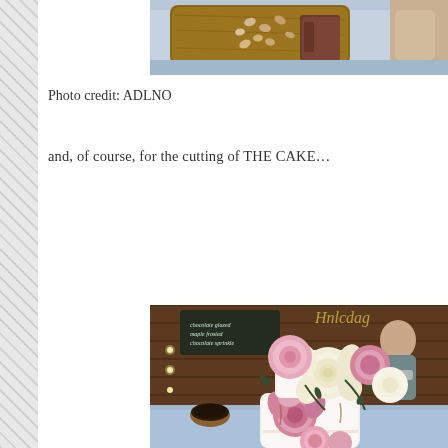[Figure (photo): Top portion of a photo showing a wooden board with food items including what appears to be charcuterie/nuts on a table with blue tablecloth]
Photo credit: ADLNO
and, of course, for the cutting of THE CAKE…
[Figure (photo): A decorated wedding cake adorned with large pink peonies, cream/white garden roses, and dark foliage greenery. The cake is white with floral decorations cascading down the tiers. Background shows a barn-like venue with string lights and a person wearing a mask visible in the background.]